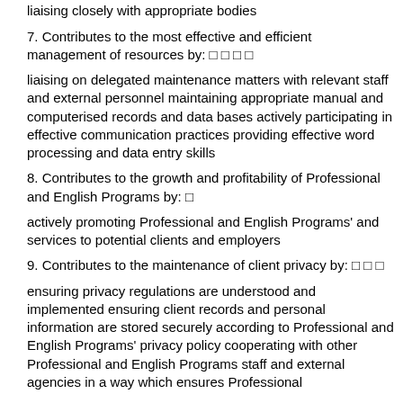information and promotional materials corresponding and liaising closely with appropriate bodies
7. Contributes to the most effective and efficient management of resources by: □ □ □ □
liaising on delegated maintenance matters with relevant staff and external personnel maintaining appropriate manual and computerised records and data bases actively participating in effective communication practices providing effective word processing and data entry skills
8. Contributes to the growth and profitability of Professional and English Programs by: □
actively promoting Professional and English Programs' and services to potential clients and employers
9. Contributes to the maintenance of client privacy by: □ □ □
ensuring privacy regulations are understood and implemented ensuring client records and personal information are stored securely according to Professional and English Programs' privacy policy cooperating with other Professional and English Programs staff and external agencies in a way which ensures Professional